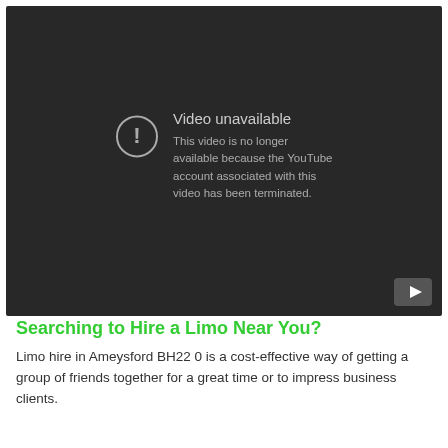[Figure (screenshot): YouTube video embedded player showing 'Video unavailable' error message. Dark background with grey circle exclamation icon on left. Text reads: 'Video unavailable' and 'This video is no longer available because the YouTube account associated with this video has been terminated.' YouTube play button icon in bottom right corner.]
Searching to Hire a Limo Near You?
Limo hire in Ameysford BH22 0 is a cost-effective way of getting a group of friends together for a great time or to impress business clients.